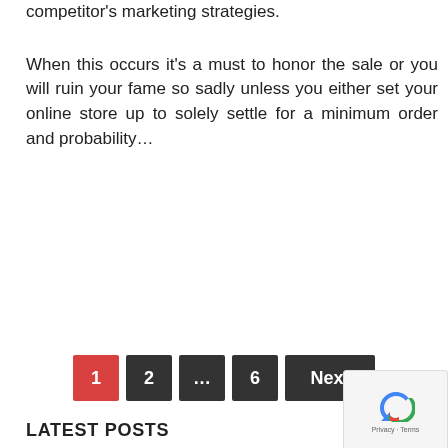competitor's marketing strategies.
When this occurs it's a must to honor the sale or you will ruin your fame so sadly unless you either set your online store up to solely settle for a minimum order and probability…
READ MORE
1 2 … 6 Next
LATEST POSTS